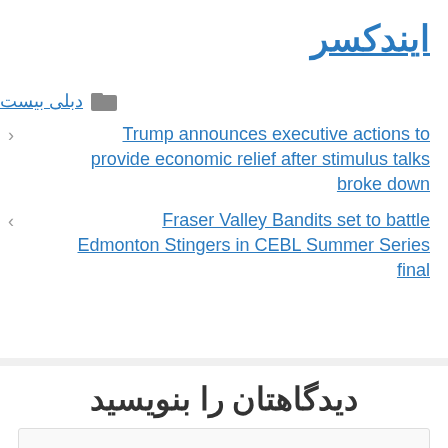ایندکسر
دبلی بیست
Trump announces executive actions to provide economic relief after stimulus talks broke down
Fraser Valley Bandits set to battle Edmonton Stingers in CEBL Summer Series final
دیدگاهتان را بنویسید